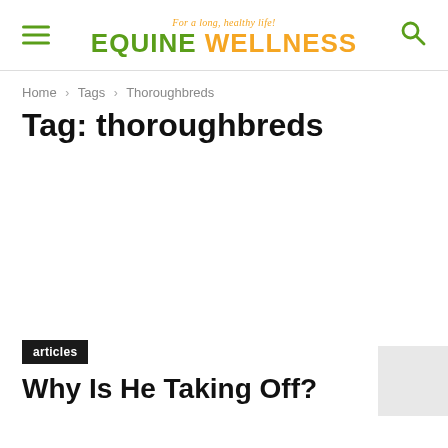EQUINE WELLNESS — For a long, healthy life!
Home › Tags › Thoroughbreds
Tag: thoroughbreds
articles
Why Is He Taking Off?